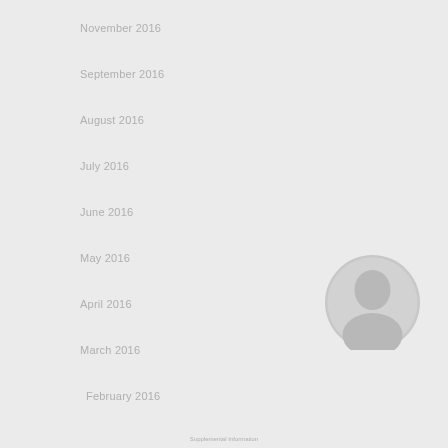November 2016
September 2016
August 2016
July 2016
June 2016
May 2016
April 2016
March 2016
February 2016
January 2016
December 2015
November 2015
October 2015
September 2015
August 2015
June 2015
April 2015
February 2015
December 2014
November 2014
September 2014
February 2014
[Figure (photo): Circular profile photo or decorative circle image in grayscale]
Supplemental Information